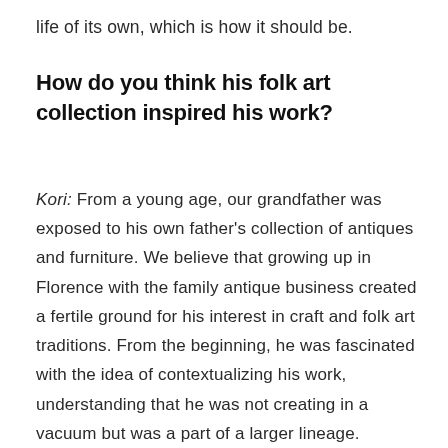life of its own, which is how it should be.
How do you think his folk art collection inspired his work?
Kori: From a young age, our grandfather was exposed to his own father's collection of antiques and furniture. We believe that growing up in Florence with the family antique business created a fertile ground for his interest in craft and folk art traditions. From the beginning, he was fascinated with the idea of contextualizing his work, understanding that he was not creating in a vacuum but was a part of a larger lineage. Perhaps more than anything, he appreciated the humanity and honesty of folk…